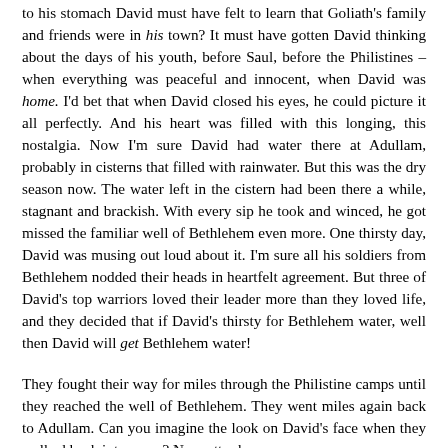to his stomach David must have felt to learn that Goliath's family and friends were in his town? It must have gotten David thinking about the days of his youth, before Saul, before the Philistines – when everything was peaceful and innocent, when David was home. I'd bet that when David closed his eyes, he could picture it all perfectly. And his heart was filled with this longing, this nostalgia. Now I'm sure David had water there at Adullam, probably in cisterns that filled with rainwater. But this was the dry season now. The water left in the cistern had been there a while, stagnant and brackish. With every sip he took and winced, he got missed the familiar well of Bethlehem even more. One thirsty day, David was musing out loud about it. I'm sure all his soldiers from Bethlehem nodded their heads in heartfelt agreement. But three of David's top warriors loved their leader more than they loved life, and they decided that if David's thirsty for Bethlehem water, well then David will get Bethlehem water!
They fought their way for miles through the Philistine camps until they reached the well of Bethlehem. They went miles again back to Adullam. Can you imagine the look on David's face when they walked back into camp? No matter how